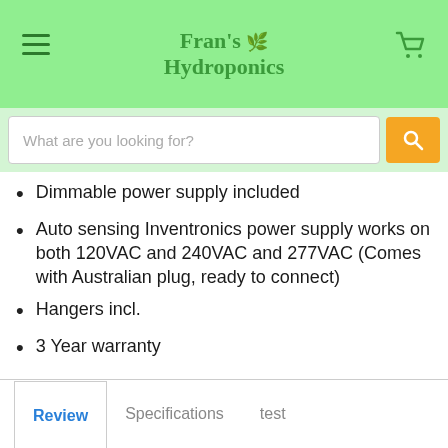Fran's Hydroponics
What are you looking for?
Dimmable power supply included
Auto sensing Inventronics power supply works on both 120VAC and 240VAC and 277VAC (Comes with Australian plug, ready to connect)
Hangers incl.
3 Year warranty
Review	Specifications	test